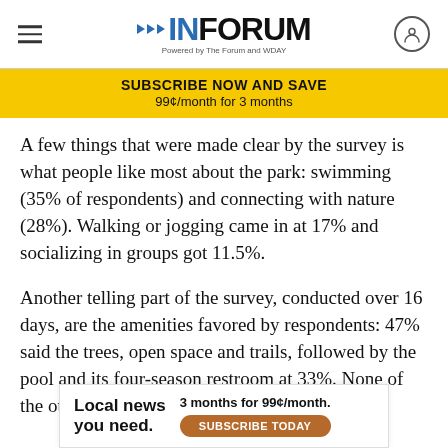INFORUM
SUBSCRIBE NOW AND SAVE
99¢/month for 3 months
A few things that were made clear by the survey is what people like most about the park: swimming (35% of respondents) and connecting with nature (28%). Walking or jogging came in at 17% and socializing in groups got 11.5%.
Another telling part of the survey, conducted over 16 days, are the amenities favored by respondents: 47% said the trees, open space and trails, followed by the pool and its four-season restroom at 33%. None of the other amenities broke into double digits
Local news you need.  3 months for 99¢/month. SUBSCRIBE TODAY